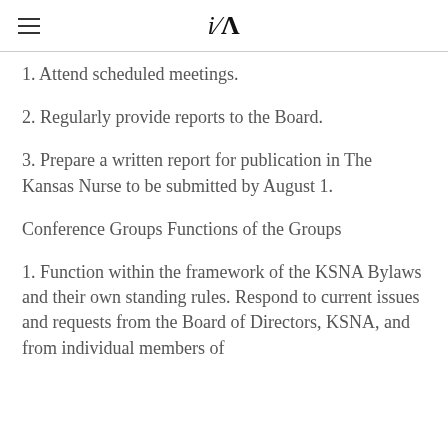iA
1. Attend scheduled meetings.
2. Regularly provide reports to the Board.
3. Prepare a written report for publication in The Kansas Nurse to be submitted by August 1.
Conference Groups Functions of the Groups
1. Function within the framework of the KSNA Bylaws and their own standing rules. Respond to current issues and requests from the Board of Directors, KSNA, and from individual members of